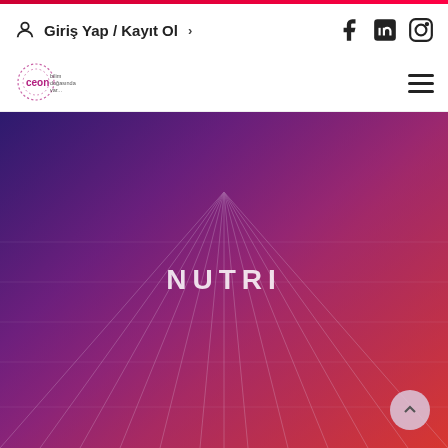Giriş Yap / Kayıt Ol
[Figure (logo): CEON logo with tagline 'bilim doğasında var...']
[Figure (photo): Hero image of a purple-red gradient field with vanishing point perspective and NUTRI brand text overlay]